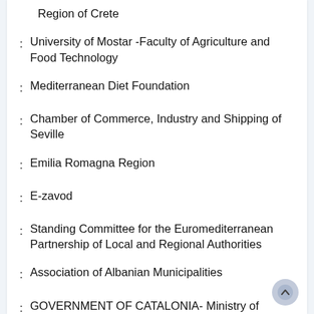Region of Crete
University of Mostar -Faculty of Agriculture and Food Technology
Mediterranean Diet Foundation
Chamber of Commerce, Industry and Shipping of Seville
Emilia Romagna Region
E-zavod
Standing Committee for the Euromediterranean Partnership of Local and Regional Authorities
Association of Albanian Municipalities
GOVERNMENT OF CATALONIA- Ministry of Agriculture, Livestock, Fisheries and Food